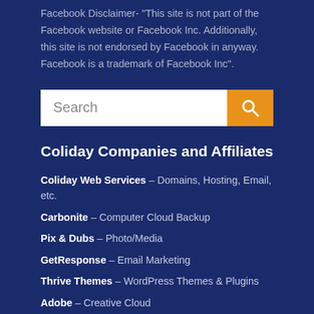Facebook Disclaimer- “This site is not part of the Facebook website or Facebook Inc. Additionally, this site is not endorsed by Facebook in anyway. Facebook is a trademark of Facebook Inc”.
Search
Coliday Companies and Affiliates
Coliday Web Services – Domains, Hosting, Email, etc.
Carbonite – Computer Cloud Backup
Pix & Dubs – Photo/Media
GetResponse – Email Marketing
Thrive Themes – WordPress Themes & Plugins
Adobe – Creative Cloud